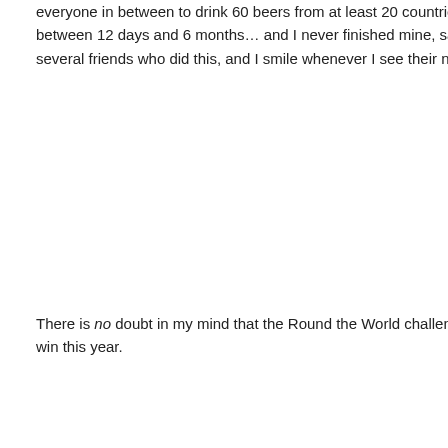everyone in between to drink 60 beers from at least 20 countries. The challenge, itself, can be completed between 12 days and 6 months… and I never finished mine, sadly, to earn a plaque. However, I have several friends who did this, and I smile whenever I see their names on the walls at the LSU landmark.
There is no doubt in my mind that the Round the World challenge had something to do with The Chimes' win this year.
…
To learn more about The Chimes, visit their website and Facebook page. (And check out the Round the World challenge, too!)
prev post    next post
no comments
Your email is never published or shared. Required fields are marked *